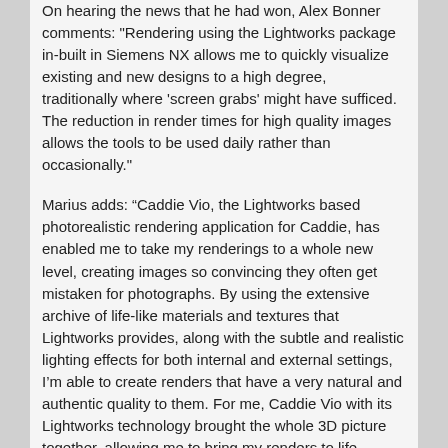On hearing the news that he had won, Alex Bonner comments: "Rendering using the Lightworks package in-built in Siemens NX allows me to quickly visualize existing and new designs to a high degree, traditionally where 'screen grabs' might have sufficed. The reduction in render times for high quality images allows the tools to be used daily rather than occasionally."
Marius adds: “Caddie Vio, the Lightworks based photorealistic rendering application for Caddie, has enabled me to take my renderings to a whole new level, creating images so convincing they often get mistaken for photographs. By using the extensive archive of life-like materials and textures that Lightworks provides, along with the subtle and realistic lighting effects for both internal and external settings, I’m able to create renders that have a very natural and authentic quality to them. For me, Caddie Vio with its Lightworks technology brought the whole 3D picture together, allowing me to bring my renders to life without the need for any postprocessing.”
To view the winning images and the shortlisted entries, click here to go to the Competition Web page: http://www.beemd.co.uk/email/link.php?M=10253&N=109&L=86&F=H
David Forrester, managing director at Lightworks, comments: “We continue to be delighted by the high quality of images which users enter into our competition. The range of subjects, applications used